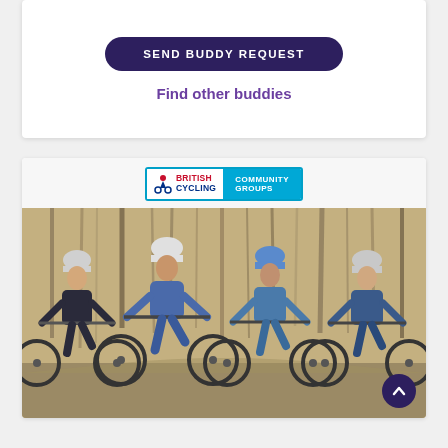SEND BUDDY REQUEST
Find other buddies
[Figure (logo): British Cycling Community Groups logo — red and blue British Cycling wordmark on white, with light blue panel reading COMMUNITY GROUPS]
[Figure (photo): Four cyclists wearing helmets and blue jackets riding mountain bikes toward camera in an autumn woodland setting]